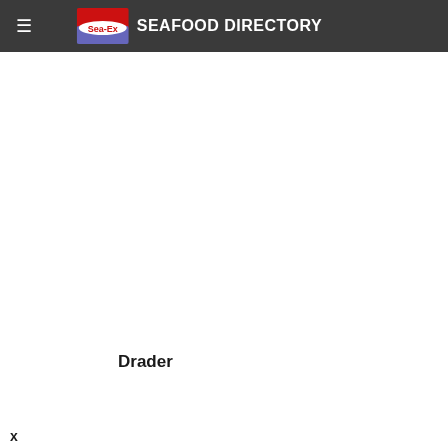Sea-Ex SEAFOOD DIRECTORY
Drader
x